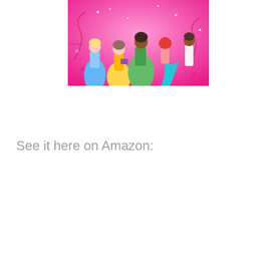[Figure (illustration): Disney Princess themed image showing multiple princesses including Cinderella (blue gown), Belle (yellow gown), Tiana (green gown), Ariel (mermaid with teal tail), and other princesses on a pink sparkly background with floral decorations.]
See it here on Amazon: